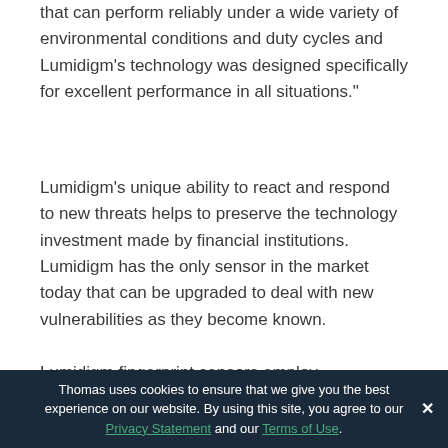that can perform reliably under a wide variety of environmental conditions and duty cycles and Lumidigm's technology was designed specifically for excellent performance in all situations."
Lumidigm's unique ability to react and respond to new threats helps to preserve the technology investment made by financial institutions. Lumidigm has the only sensor in the market today that can be upgraded to deal with new vulnerabilities as they become known.
Lumidigm fingerprint sensors employ multispectral imaging
Thomas uses cookies to ensure that we give you the best experience on our website. By using this site, you agree to our Privacy Statement and our Terms of Use.